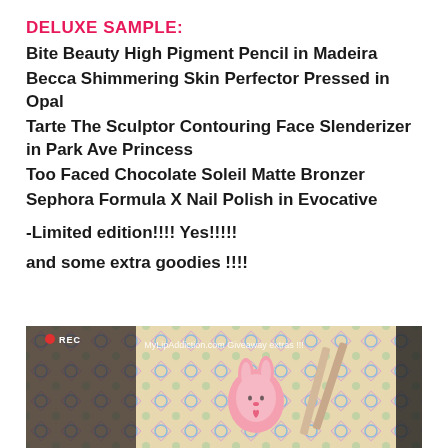DELUXE SAMPLE:
Bite Beauty High Pigment Pencil in Madeira
Becca Shimmering Skin Perfector Pressed in Opal
Tarte The Sculptor Contouring Face Slenderizer in Park Ave Princess
Too Faced Chocolate Soleil Matte Bronzer
Sephora Formula X Nail Polish in Evocative
-Limited edition!!!! Yes!!!!!
and some extra goodies !!!!
[Figure (photo): Photo of giveaway extras showing a pink bunny figure and beauty products on a colorful patterned background, with MyLipAddiction.com Giveaway extras !!! text overlay and REC indicator]